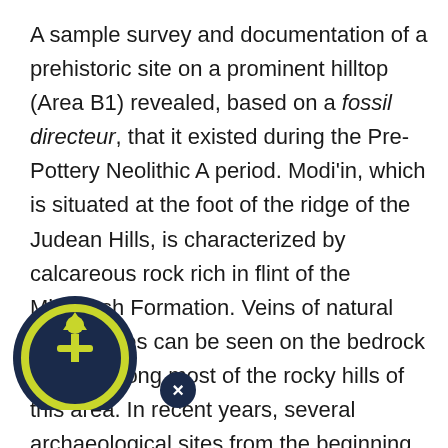A sample survey and documentation of a prehistoric site on a prominent hilltop (Area B1) revealed, based on a fossil directeur, that it existed during the Pre-Pottery Neolithic A period. Modi'in, which is situated at the foot of the ridge of the Judean Hills, is characterized by calcareous rock rich in flint of the Miashash Formation. Veins of natural flint nodules can be seen on the bedrock surface along most of the rocky hills of this area. In recent years, several archaeological sites from the beginning of the Neolithic period were documented within the boundaries of the city; all of them are located on hills that stand out prominently amid their surroundings. No architectural remains have survived at the sites
[Figure (logo): Circular logo with dark navy background, yellow-green figure with upward arrow, overlapping circles, with a small close/remove button (x) in dark navy at bottom-right]